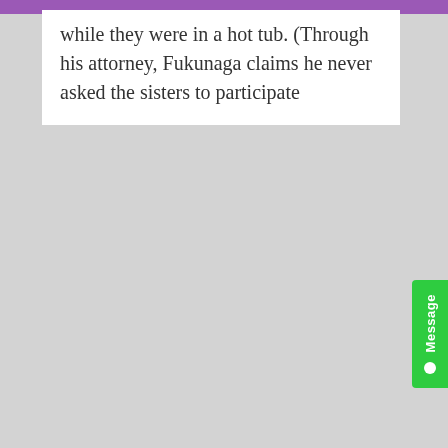while they were in a hot tub. (Through his attorney, Fukunaga claims he never asked the sisters to participate